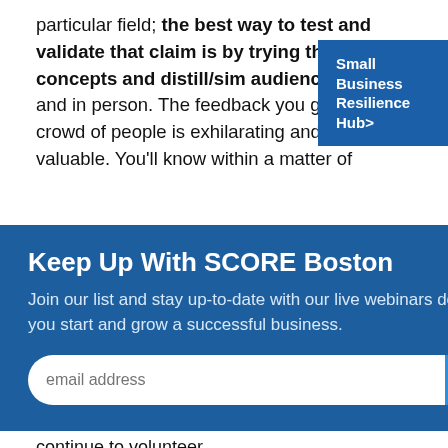particular field; the best way to test and validate that claim is by trying those concepts and distill/sim audience—live and in person. The feedback you get from a crowd of people is exhilarating and highly valuable. You'll know within a matter of
[Figure (other): Blue button/banner: Small Business Resilience Hub>]
Keep Up With SCORE Boston
Join our list and stay up-to-date with our live webinars designed to help you start and grow a successful business.
[email address input] [SUBMIT]
thing. But, having the opportunity to accelerate the growth of your career is something that is truly rare. That is why SCORE is such an important organization for me and why I continue to volunteer.